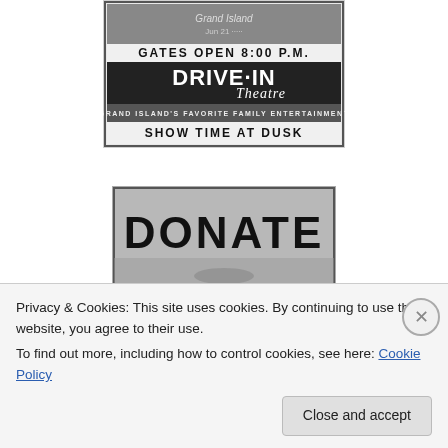[Figure (photo): Black and white newspaper advertisement for a Drive-In Theatre. Shows text: 'GATES OPEN 8:00 P.M.', 'DRIVE-IN Theatre', 'GRAND ISLAND'S FAVORITE FAMILY ENTERTAINMENT', 'SHOW TIME AT DUSK']
[Figure (photo): Grayscale image with bold text 'DONATE' in large black letters on a grey background]
Privacy & Cookies: This site uses cookies. By continuing to use this website, you agree to their use.
To find out more, including how to control cookies, see here: Cookie Policy
Close and accept